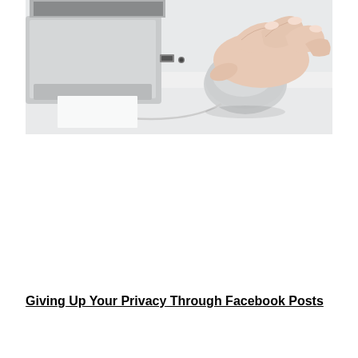[Figure (photo): Photo of a person's hand on a white computer mouse next to a laptop on a white desk]
Giving Up Your Privacy Through Facebook Posts